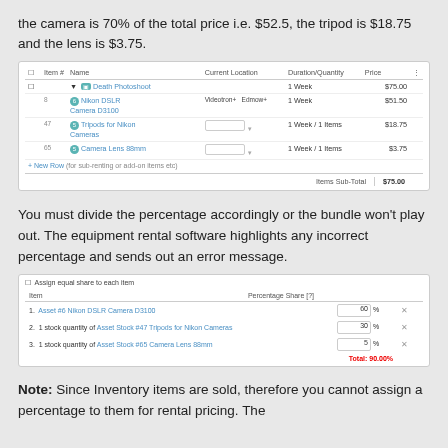the camera is 70% of the total price i.e. $52.5, the tripod is $18.75 and the lens is $3.75.
[Figure (screenshot): Screenshot of equipment rental software showing a bundle order with items: Death Photoshoot (1 Week, $75.00), Nikon DSLR Camera D3100 (Videotron+ Edmow+, 1 Week, $51.50), Tripods for Nikon Cameras (1 Week/1 Item, $18.75), Camera Lens 88mm (1 Week/1 Item, $3.75). Items Sub-Total: $75.00. Also shows an Add Row link.]
You must divide the percentage accordingly or the bundle won't play out. The equipment rental software highlights any incorrect percentage and sends out an error message.
[Figure (screenshot): Screenshot showing percentage share assignment interface with 3 items: 1. Asset #6 Nikon DSLR Camera D3100 (60%), 2. 1 stock quantity of Asset Stock #47 Tripods for Nikon Cameras (30%), 3. 1 stock quantity of Asset Stock #65 Camera Lens 88mm (5%). Total shown as 90.00% in red (error state). Assign equal share to each item checkbox shown at top.]
Note: Since Inventory items are sold, therefore you cannot assign a percentage to them for rental pricing. The